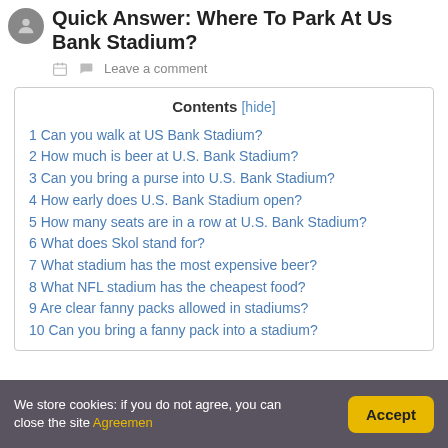Quick Answer: Where To Park At Us Bank Stadium?
Leave a comment
1 Can you walk at US Bank Stadium?
2 How much is beer at U.S. Bank Stadium?
3 Can you bring a purse into U.S. Bank Stadium?
4 How early does U.S. Bank Stadium open?
5 How many seats are in a row at U.S. Bank Stadium?
6 What does Skol stand for?
7 What stadium has the most expensive beer?
8 What NFL stadium has the cheapest food?
9 Are clear fanny packs allowed in stadiums?
10 Can you bring a fanny pack into a stadium?
We store cookies: if you do not agree, you can close the site Agreemen